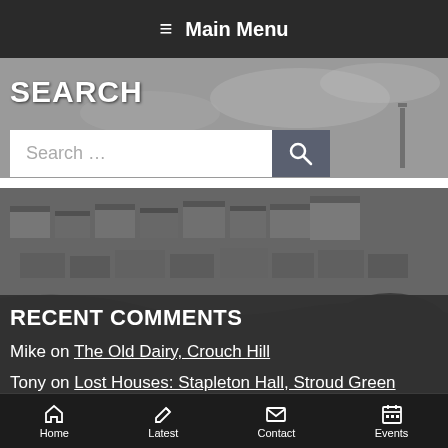≡ Main Menu
SEARCH
[Figure (photo): Black and white aerial photograph of a town with rooftops, streets, and hillside vegetation]
RECENT COMMENTS
Mike on The Old Dairy, Crouch Hill
Tony on Lost Houses: Stapleton Hall, Stroud Green
Home | Latest | Contact | Events